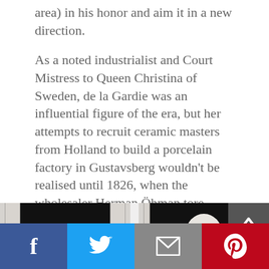area) in his honor and aim it in a new direction.
As a noted industrialist and Court Mistress to Queen Christina of Sweden, de la Gardie was an influential figure of the era, but her attempts to recruit ceramic masters from Holland to build a porcelain factory in Gustavsberg wouldn't be realised until 1826, when the wholesaler Herman Öhman tore down the old brick mill and started a porcelain factory on the site.
[Figure (photo): Two white ceramic/porcelain sculptures on dark background. Left: classical figurative sculpture of intertwined human figures in motion. Right: abstract modernist vase in human body form.]
Share bar with Facebook, Twitter, Email, Pinterest icons